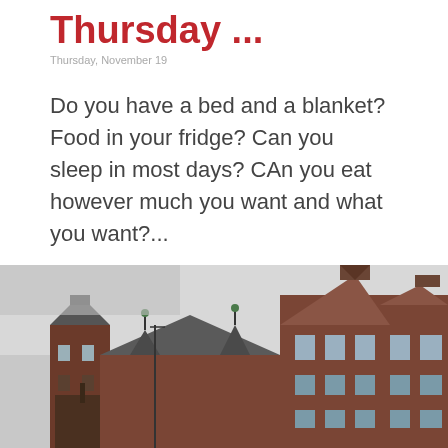Thursday ...
Do you have a bed and a blanket? Food in your fridge? Can you sleep in most days? CAn you eat however much you want and what you want?...
[Figure (photo): Photograph of a historic brick building with ornate stepped gable rooflines and turrets, taken from street level against a cloudy grey sky. A date badge overlay shows '19 NOV'.]